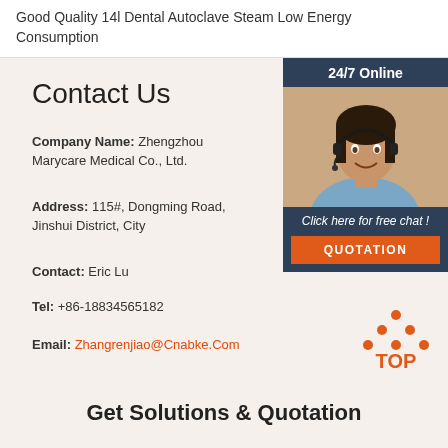Good Quality 14l Dental Autoclave Steam Low Energy Consumption
Contact Us
Company Name: Zhengzhou Marycare Medical Co., Ltd.
Address: 115#, Dongming Road, Jinshui District, City
Contact: Eric Lu
Tel: +86-18834565182
Email: Zhangrenjiao@Cnabke.Com
[Figure (photo): Customer service representative with headset, 24/7 Online badge, Click here for free chat, QUOTATION button]
[Figure (illustration): TOP icon in orange]
Get Solutions & Quotation